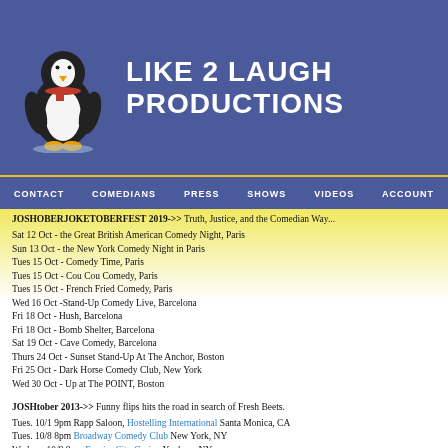[Figure (logo): Like 2 Laugh Productions header with penguin mascot logo and site title text on blue background]
CONTACT | COMEDIANS | PRESS | SHOWS | VIDEOS | ACCOUNT
JOSHOBERJOKETOBERFEST 2019->> Truth, Justice, and the Comedian Way...
Sat 12 Oct - the Great British American Comedy Night, Paris
Sun 13 Oct - the New York Comedy Night in Paris
Tues 15 Oct - Comedy Time, Paris
Tues 15 Oct - Cou Cou Comedy, Paris
Tues 15 Oct - French Fried Comedy, Paris
Wed 16 Oct -Stand-Up Comedy Live, Barcelona
Fri 18 Oct - Hush, Barcelona
Fri 18 Oct - Bomb Shelter, Barcelona
Sat 19 Oct - Cave Comedy, Barcelona
Thurs 24 Oct - Sunset Stand-Up At The Anchor, Boston
Fri 25 Oct - Dark Horse Comedy Club, New York
Wed 30 Oct - Up at The POINT, Boston
JOSHtober 2013->> Funny flips hits the road in search of Fresh Beets.
Tues. 10/1 9pm Rapp Saloon, Hostelling International Santa Monica, CA
Tues. 10/8 8pm Broadway Comedy Club New York, NY
Wednes. 10/9 8pm Empire City Casino Yonkers, NY
Thurs. 10/10 Playa del Carmen, Mexico TBA
Friday 10/18 Electric Garden Uvita, Costa Rica
Wed/Thurs 10/23-24 Chile Rojo Puerto Viejo, Costa Rica